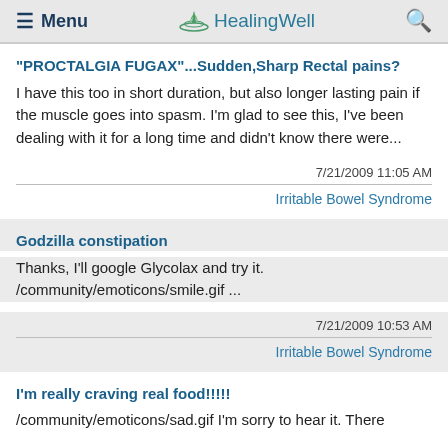Menu | HealingWell | Search
"PROCTALGIA FUGAX"...Sudden,Sharp Rectal pains?
I have this too in short duration, but also longer lasting pain if the muscle goes into spasm. I'm glad to see this, I've been dealing with it for a long time and didn't know there were...
7/21/2009 11:05 AM
Irritable Bowel Syndrome
Godzilla constipation
Thanks, I'll google Glycolax and try it. /community/emoticons/smile.gif ...
7/21/2009 10:53 AM
Irritable Bowel Syndrome
I'm really craving real food!!!!!
/community/emoticons/sad.gif I'm sorry to hear it. There